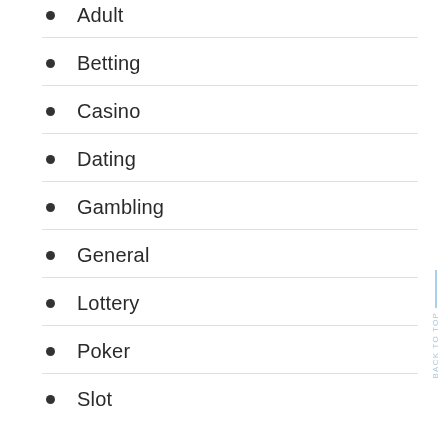Adult
Betting
Casino
Dating
Gambling
General
Lottery
Poker
Slot